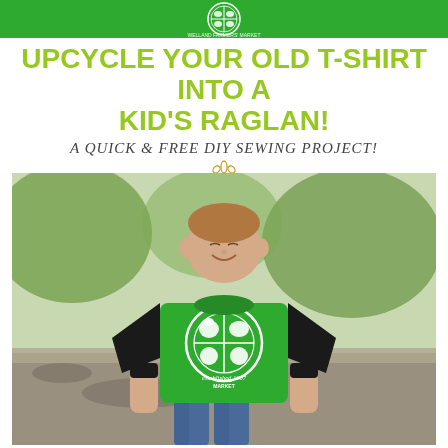[Figure (photo): Green banner at top with Welland Farmers' Market circular logo (white) on green background]
UPCYCLE YOUR OLD T-SHIRT INTO A KID'S RAGLAN!
A QUICK & FREE DIY SEWING PROJECT!
[Figure (illustration): Small hand-drawn yellow daisy flower icon]
[Figure (photo): A young boy wearing a green raglan t-shirt with black sleeves, printed with Welland Farmers' Market logo established 1907, standing outdoors on a driveway with green trees in background]